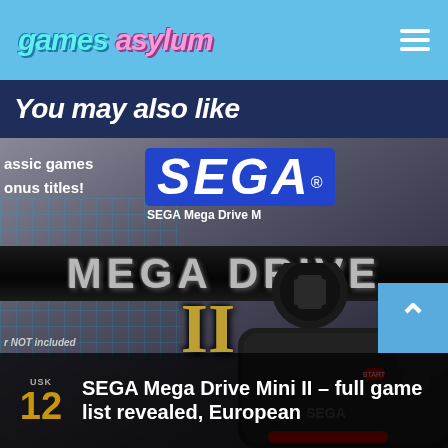games asylum
You may also like
[Figure (photo): SEGA Mega Drive Mini II product box art showing the Mega Drive console with controller, SEGA logo, and MEGA DRIVE II text]
r NOT included
SEGA Mega Drive Mini II – full game list revealed, European
USK 12